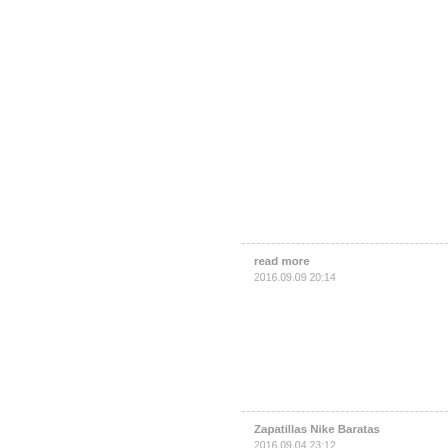read more
2016.09.09 20:14
Zapatillas Nike Baratas
2016.09.04 23:12